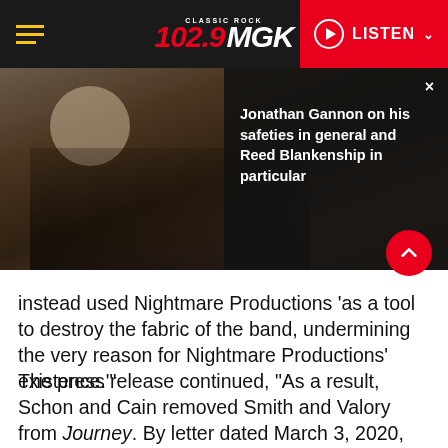102.9 MGK Classic Rock | LISTEN
[Figure (photo): Photo of a man wearing sunglasses and a baseball cap at what appears to be an outdoor NFL event or press conference, with a dark overlay panel showing text about Jonathan Gannon]
Jonathan Gannon on his safeties in general and Reed Blankenship in particular
instead used Nightmare Productions 'as a tool to destroy the fabric of the band, undermining the very reason for Nightmare Productions' existence.'”
The press release continued, “As a result, Schon and Cain removed Smith and Valory from Journey. By letter dated March 3, 2020, Schon and Cain provided notice to Smith and